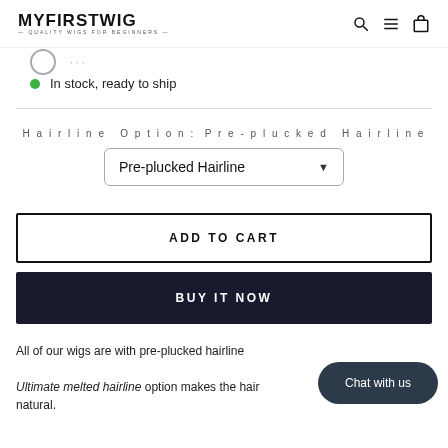MYFIRSTWIG — QUALITY WIGS FOR BEGINNERS —
In stock, ready to ship
Hairline Option: Pre-plucked Hairline
Pre-plucked Hairline
ADD TO CART
BUY IT NOW
All of our wigs are with pre-plucked hairline
Ultimate melted hairline option makes the hairline look more natural.